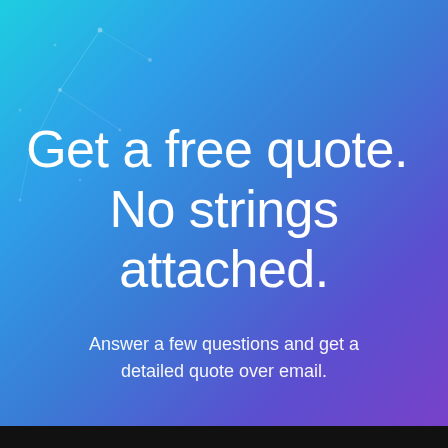Get a free quote.  No strings attached.
Answer a few questions and get a detailed quote over email.